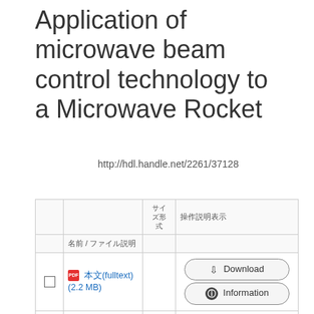Application of microwave beam control technology to a Microwave Rocket
http://hdl.handle.net/2261/37128
|  | ファイル / ファイル説明 | サイズ形式 | 操作 |
| --- | --- | --- | --- |
| ☐ | 本文(fulltext) (2.2 MB) |  | Download / Information |
| ☐ | 要旨(summary) (107.2 kB) |  | Download / Information |